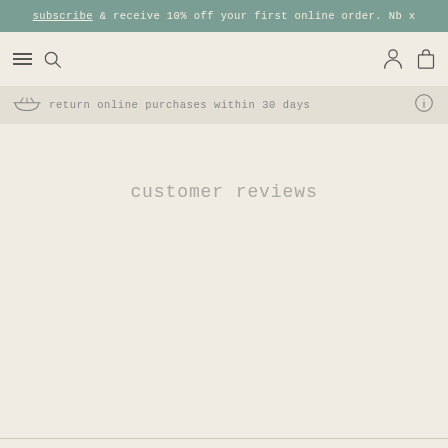subscribe & receive 10% off your first online order. Nb x
[Figure (screenshot): Navigation bar with hamburger menu, search icon, user account icon, and shopping bag icon]
return online purchases within 30 days
customer reviews